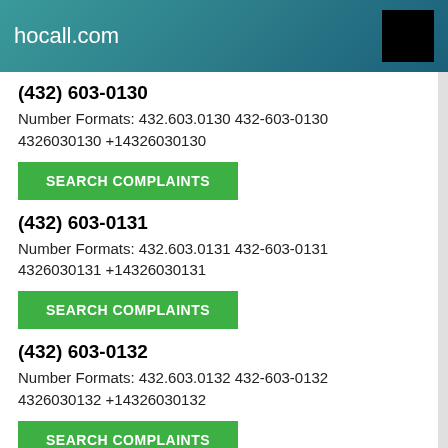hocall.com
(432) 603-0130
Number Formats: 432.603.0130 432-603-0130 4326030130 +14326030130
SEARCH COMPLAINTS
(432) 603-0131
Number Formats: 432.603.0131 432-603-0131 4326030131 +14326030131
SEARCH COMPLAINTS
(432) 603-0132
Number Formats: 432.603.0132 432-603-0132 4326030132 +14326030132
SEARCH COMPLAINTS
(432) 603-0133
Number Formats: 432.603.0133 432-603-0133 4326030133 +14326030133
SEARCH COMPLAINTS